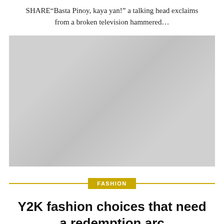SHARE“Basta Pinoy, kaya yan!” a talking head exclaims from a broken television hammered…
[Figure (photo): A large image placeholder, likely a photograph related to the article above, shown as a light gray rectangle.]
FASHION
Y2K fashion choices that need a redemption arc